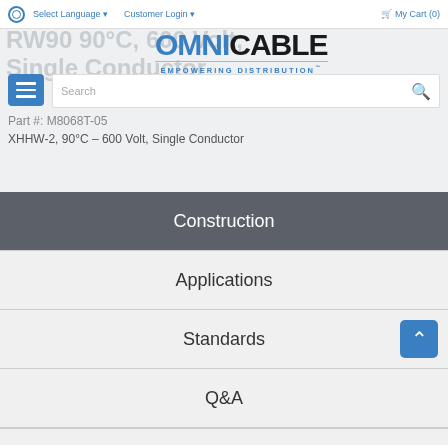Select Language  Customer Login  My Cart (0)
RW90 90°C, 600 Volt, Single Conductor
[Figure (logo): OmniCable logo with text EMPOWERING DISTRIBUTION]
Part #: M8068T-05
XHHW-2, 90°C – 600 Volt, Single Conductor
Construction
Applications
Standards
Q&A